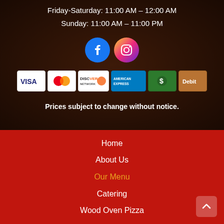Friday-Saturday: 11:00 AM – 12:00 AM
Sunday: 11:00 AM – 11:00 PM
[Figure (logo): Facebook and Instagram social media icons]
[Figure (infographic): Payment method icons: Visa, MasterCard, Discover, American Express, Cash, Debit]
Prices subject to change without notice.
Home
About Us
Our Menu
Catering
Wood Oven Pizza